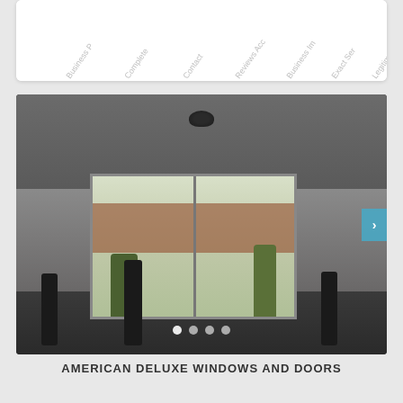[Figure (other): Partial screenshot of a business profile chart/radar showing category labels: Business P, Complete, Contact, Reviews Acc, Business Im, Exact Ser, Legitimate Ra — rendered diagonally at top of page inside a white card]
[Figure (photo): Interior photo of a room with a sliding glass door being installed, three worker silhouettes visible against bright exterior, ceiling light fixture visible, tools on floor]
AMERICAN DELUXE WINDOWS AND DOORS